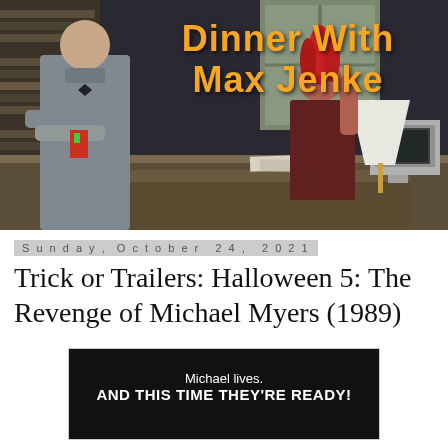[Figure (screenshot): Banner image for 'Dinner With Max Jenke' podcast/show. Dark movie still showing two characters in an office scene — one in a grey suit with bow tie standing with arms crossed on the left, and one with red punk hair seated at a desk on the right. Orange bold text overlay reads 'Dinner With Max Jenke'.]
Sunday, October 24, 2021
Trick or Trailers: Halloween 5: The Revenge of Michael Myers (1989)
[Figure (screenshot): Movie poster or title card with black background. White text reads 'Michael lives.' above bold white text 'AND THIS TIME THEY'RE READY!']